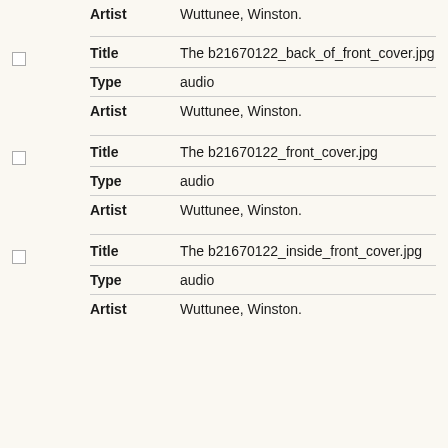| Field | Value |
| --- | --- |
| Artist | Wuttunee, Winston. |
| Title | The b21670122_back_of_front_cover.jpg |
| Type | audio |
| Artist | Wuttunee, Winston. |
| Title | The b21670122_front_cover.jpg |
| Type | audio |
| Artist | Wuttunee, Winston. |
| Title | The b21670122_inside_front_cover.jpg |
| Type | audio |
| Artist | Wuttunee, Winston. |